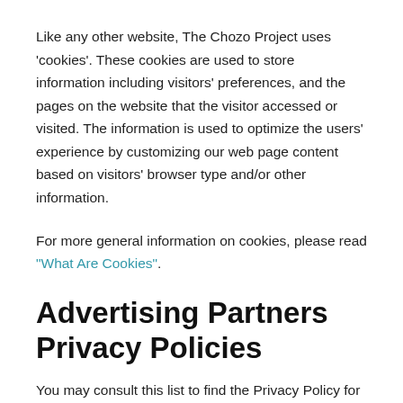Like any other website, The Chozo Project uses 'cookies'. These cookies are used to store information including visitors' preferences, and the pages on the website that the visitor accessed or visited. The information is used to optimize the users' experience by customizing our web page content based on visitors' browser type and/or other information.
For more general information on cookies, please read "What Are Cookies".
Advertising Partners Privacy Policies
You may consult this list to find the Privacy Policy for